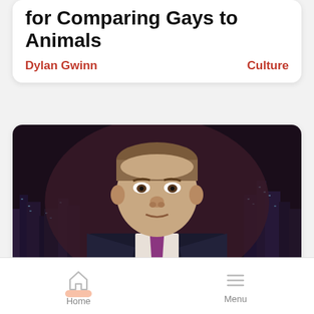for Comparing Gays to Animals
Dylan Gwinn
Culture
[Figure (photo): A male news anchor in a dark suit and purple tie, sitting at a news desk with a nighttime city skyline visible in the background.]
Media Lions Roar at Christian Athletes
Home   Menu